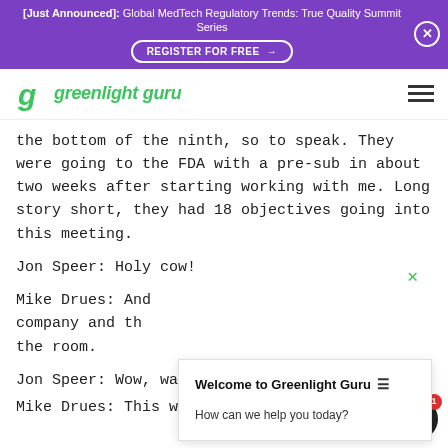[Just Announced]: Global MedTech Regulatory Trends: True Quality Summit Series
REGISTER FOR FREE →
[Figure (logo): Greenlight Guru logo with green stylized G icon and italic green text]
the bottom of the ninth, so to speak. They were going to the FDA with a pre-sub in about two weeks after starting working with me. Long story short, they had 18 objectives going into this meeting.
Jon Speer: Holy cow!
Mike Drues: And company and th the room.
Welcome to Greenlight Guru ☰
How can we help you today?
Jon Speer: Wow, was this a face-to-face?
Mike Drues: This was a face-to-face...